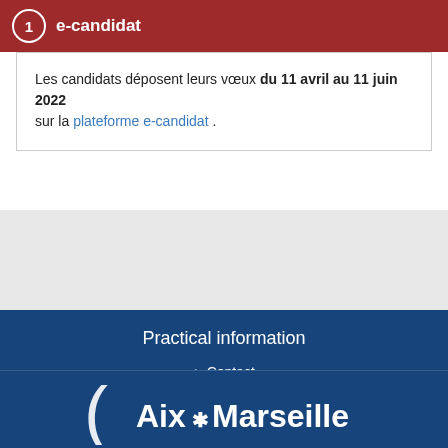e-candidat
Les candidats déposent leurs vœux du 11 avril au 11 juin 2022 sur la plateforme e-candidat .
Practical information
Contact
Accès
Facebook
[Figure (logo): Aix-Marseille Université logo with stylized parenthesis and asterisk]